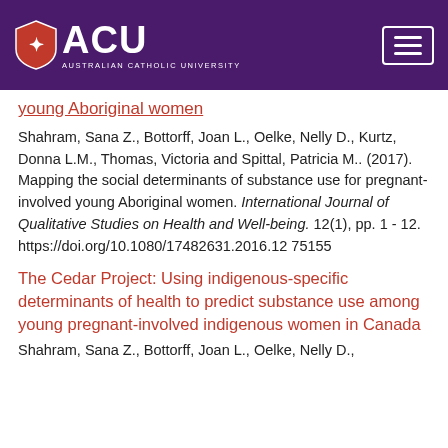ACU - Australian Catholic University
young Aboriginal women
Shahram, Sana Z., Bottorff, Joan L., Oelke, Nelly D., Kurtz, Donna L.M., Thomas, Victoria and Spittal, Patricia M.. (2017). Mapping the social determinants of substance use for pregnant-involved young Aboriginal women. International Journal of Qualitative Studies on Health and Well-being. 12(1), pp. 1 - 12. https://doi.org/10.1080/17482631.2016.1275155
The Cedar Project: Using indigenous-specific determinants of health to predict substance use among young pregnant-involved indigenous women in Canada
Shahram, Sana Z., Bottorff, Joan L., Oelke, Nelly D.,